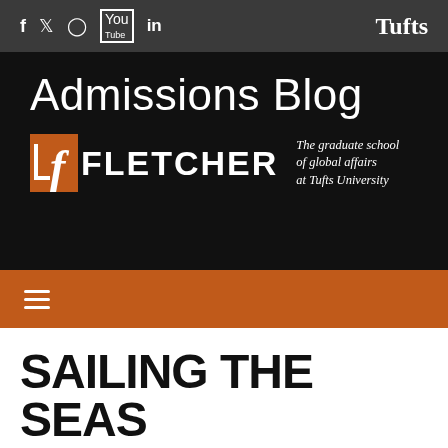f  ᵥ  ⓘ  ▶  in    Tufts
[Figure (logo): Fletcher School Admissions Blog banner with logo. Text reads: Admissions Blog. Fletcher logo with orange F icon and text FLETCHER. Tagline: The graduate school of global affairs at Tufts University.]
SAILING THE SEAS OF SEATS
May 20, 2022  Daniel Birdsall  976 Views